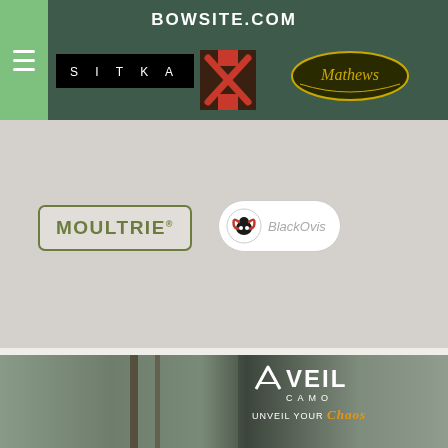BOWSITE.COM
[Figure (logo): SITKA wordmark in white on black background]
[Figure (logo): Badlands crosshair/X logo in red on dark background]
[Figure (logo): Mathews archery oval logo in gold on dark background]
[Figure (logo): Moultrie logo with olive green border and text]
[Figure (logo): BlackOvis logo with ram skull icon and stylized text]
[Figure (photo): Hunter in camouflage climbing a tree stand in a winter forest]
[Figure (logo): Veil Camo advertisement overlay: VEIL CAMO logo and UNVEIL YOUR CHAOS tagline]